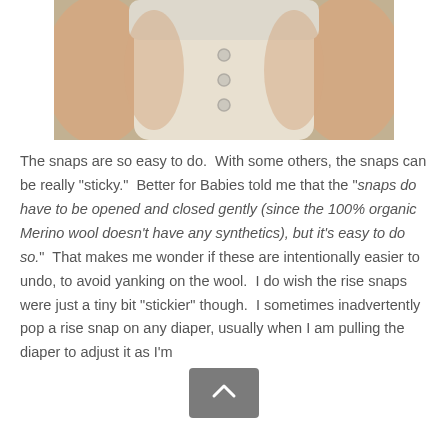[Figure (photo): Close-up photo of a baby wearing a white cloth diaper/nappy with snap closures, showing the baby's chubby legs on either side.]
The snaps are so easy to do.  With some others, the snaps can be really "sticky."  Better for Babies told me that the "snaps do have to be opened and closed gently (since the 100% organic Merino wool doesn't have any synthetics), but it's easy to do so."  That makes me wonder if these are intentionally easier to undo, to avoid yanking on the wool.  I do wish the rise snaps were just a tiny bit "stickier" though.  I sometimes inadvertently pop a rise snap on any diaper, usually when I am pulling the diaper to adjust it as I'm